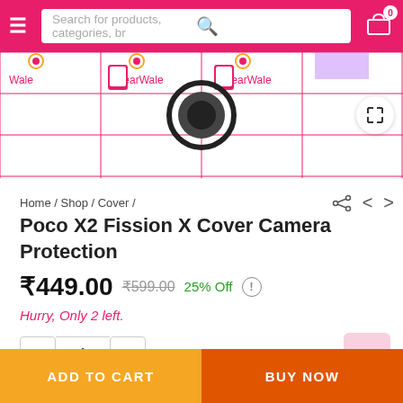[Figure (screenshot): E-commerce product page header with search bar and cart icon on pink/red background]
[Figure (photo): Product image area showing GearWale branded phone cover with camera protection for Poco X2, watermark grid visible]
Home / Shop / Cover /
Poco X2 Fission X Cover Camera Protection
₹449.00  ₹599.00  25% Off  !
Hurry, Only 2 left.
- 1 +
ADD TO CART
BUY NOW